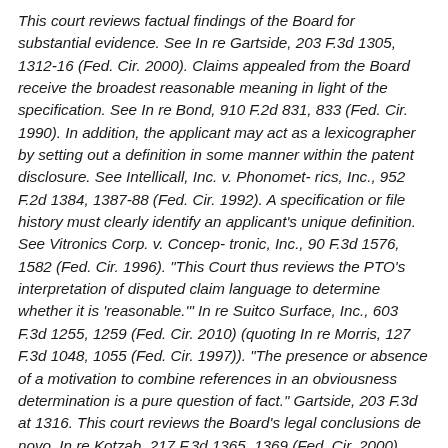This court reviews factual findings of the Board for substantial evidence. See In re Gartside, 203 F.3d 1305, 1312-16 (Fed. Cir. 2000). Claims appealed from the Board receive the broadest reasonable meaning in light of the specification. See In re Bond, 910 F.2d 831, 833 (Fed. Cir. 1990). In addition, the applicant may act as a lexicographer by setting out a definition in some manner within the patent disclosure. See Intellicall, Inc. v. Phonomet- rics, Inc., 952 F.2d 1384, 1387-88 (Fed. Cir. 1992). A specification or file history must clearly identify an applicant's unique definition. See Vitronics Corp. v. Concep- tronic, Inc., 90 F.3d 1576, 1582 (Fed. Cir. 1996). "This Court thus reviews the PTO's interpretation of disputed claim language to determine whether it is 'reasonable.'" In re Suitco Surface, Inc., 603 F.3d 1255, 1259 (Fed. Cir. 2010) (quoting In re Morris, 127 F.3d 1048, 1055 (Fed. Cir. 1997)). "The presence or absence of a motivation to combine references in an obviousness determination is a pure question of fact." Gartside, 203 F.3d at 1316. This court reviews the Board's legal conclusions de novo. In re Kotzab, 217 F.3d 1365, 1369 (Fed. Cir. 2000).